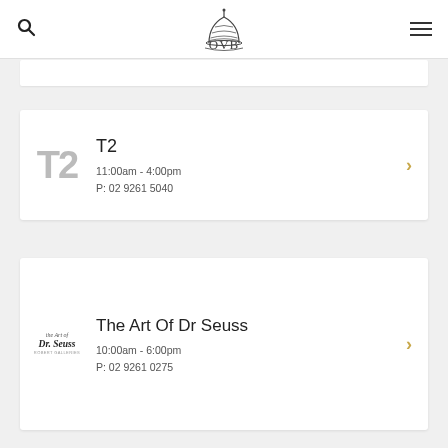QVB navigation header with search and menu icons
[Figure (logo): QVB logo with capitol dome icon above letters QVB]
T2
11:00am - 4:00pm
P: 02 9261 5040
The Art Of Dr Seuss
10:00am - 6:00pm
P: 02 9261 0275